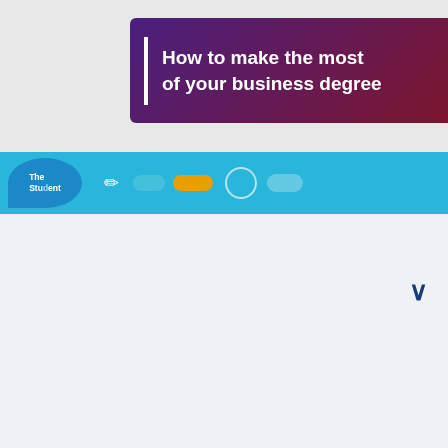[Figure (screenshot): Advertisement banner with dark purple-to-red gradient background. Left white vertical bar, bold white text 'How to make the most of your business degree', white button on right with blue text 'Find out »', and an X close button in the top right corner.]
[Figure (screenshot): Navigation bar with blue background for The Student Room website. Shows logo on left, edit icon, login pill button, orange register button, search circle, and more button on the right.]
[Figure (screenshot): Main page content area with light blue-grey background showing a dropdown chevron indicator in the upper right.]